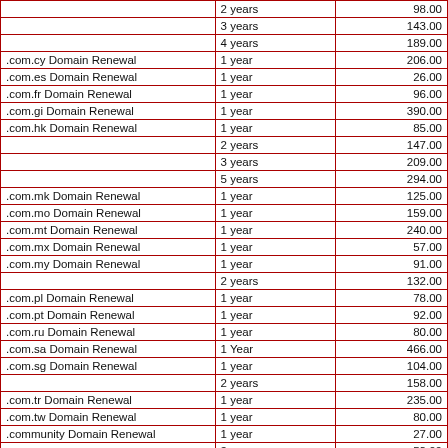| Service | Period | Price |
| --- | --- | --- |
|  | 2 years | 98.00 |
|  | 3 years | 143.00 |
|  | 4 years | 189.00 |
| .com.cy Domain Renewal | 1 year | 206.00 |
| .com.es Domain Renewal | 1 year | 26.00 |
| .com.fr Domain Renewal | 1 year | 96.00 |
| .com.gi Domain Renewal | 1 year | 390.00 |
| .com.hk Domain Renewal | 1 year | 85.00 |
|  | 2 years | 147.00 |
|  | 3 years | 209.00 |
|  | 5 years | 294.00 |
| .com.mk Domain Renewal | 1 year | 125.00 |
| .com.mo Domain Renewal | 1 year | 159.00 |
| .com.mt Domain Renewal | 1 year | 240.00 |
| .com.mx Domain Renewal | 1 year | 57.00 |
| .com.my Domain Renewal | 1 year | 91.00 |
|  | 2 years | 132.00 |
| .com.pl Domain Renewal | 1 year | 78.00 |
| .com.pt Domain Renewal | 1 year | 92.00 |
| .com.ru Domain Renewal | 1 year | 80.00 |
| .com.sa Domain Renewal | 1 Year | 466.00 |
| .com.sg Domain Renewal | 1 year | 104.00 |
|  | 2 years | 158.00 |
| .com.tr Domain Renewal | 1 year | 235.00 |
| .com.tw Domain Renewal | 1 year | 80.00 |
| .community Domain Renewal | 1 year | 27.00 |
|  | 2 years | 53.00 |
|  | 3 years | 80.00 |
|  | 4 years | 107.00 |